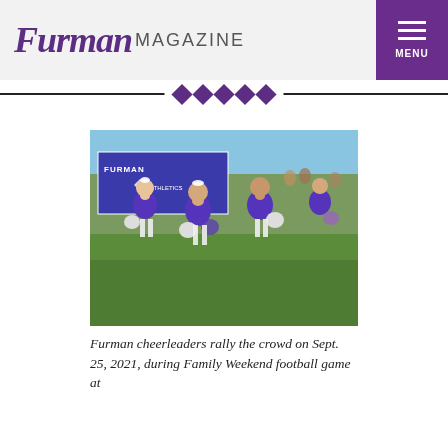Furman MAGAZINE
[Figure (photo): Furman cheerleaders in purple uniforms with white pom-poms performing on a grass field during Family Weekend football game on Sept. 25, 2021. A blue Furman Athletics banner is visible in the background.]
Furman cheerleaders rally the crowd on Sept. 25, 2021, during Family Weekend football game at